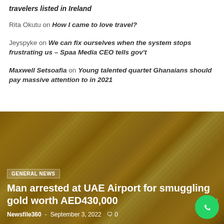travelers listed in Ireland
Rita Okutu on How I came to love travel?
Jeyspyke on We can fix ourselves when the system stops frustrating us – Spaa Media CEO tells gov't
Maxwell Setsoafia on Young talented quartet Ghanaians should pay massive attention to in 2021
[Figure (photo): Gold jewelry items displayed at a market/shop, used as background for a news article about gold smuggling at UAE Airport]
GENERAL NEWS
Man arrested at UAE Airport for smuggling gold worth AED430,000
Newsfile360 - September 3, 2022  0